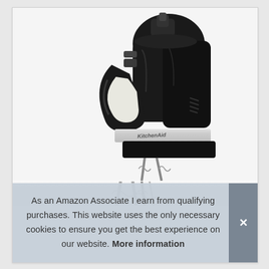[Figure (photo): Black KitchenAid hand mixer shown at an angle, featuring ergonomic handle, speed control buttons on top, ventilation grilles on the side, and chrome KitchenAid branding band near the bottom. Beater attachments visible at bottom edge.]
As an Amazon Associate I earn from qualifying purchases. This website uses the only necessary cookies to ensure you get the best experience on our website. More information